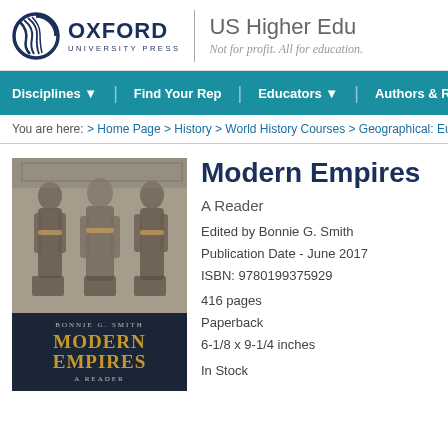[Figure (logo): Oxford University Press circular logo with text OXFORD UNIVERSITY PRESS]
US Higher Edu
Not for profit. All for education.
Disciplines ▼ | Find Your Rep | Educators ▼ | Authors & Revi
You are here: > Home Page > History > World History Courses > Geographical: Europe
[Figure (photo): Book cover of Modern Empires: A Reader by Bonnie G. Smith. Top half shows a black and white photograph of traditionally dressed women. Bottom half is dark navy with gold title text.]
Modern Empires
A Reader
Edited by Bonnie G. Smith
Publication Date - June 2017
ISBN: 9780199375929
416 pages
Paperback
6-1/8 x 9-1/4 inches
In Stock